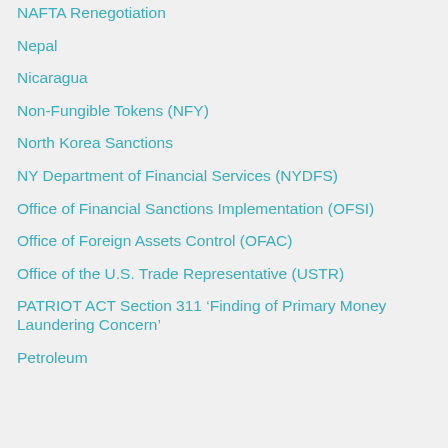NAFTA Renegotiation
Nepal
Nicaragua
Non-Fungible Tokens (NFY)
North Korea Sanctions
NY Department of Financial Services (NYDFS)
Office of Financial Sanctions Implementation (OFSI)
Office of Foreign Assets Control (OFAC)
Office of the U.S. Trade Representative (USTR)
PATRIOT ACT Section 311 ‘Finding of Primary Money Laundering Concern’
Petroleum